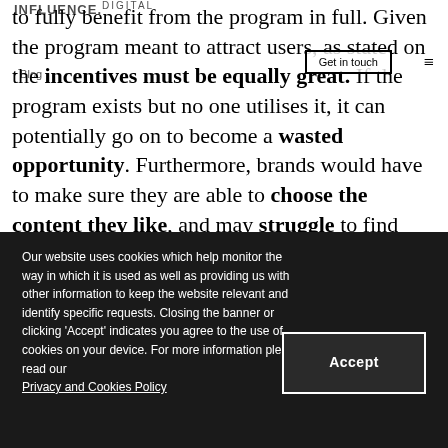INFLUENCE. DIGITAL — Get in touch — Blog
to fully benefit from the program in full. Given the program meant to attract users, as stated on the incentives must be equally great. If the program exists but no one utilises it, it can potentially go on to become a wasted opportunity. Furthermore, brands would have to make sure they are able to choose the content they like, and may struggle to find appropriate material.
Our website uses cookies which help monitor the way in which it is used as well as providing us with other information to keep the website relevant and identify specific requests. Closing the banner or clicking 'Accept' indicates you agree to the use of cookies on your device. For more information please read our Privacy and Cookies Policy